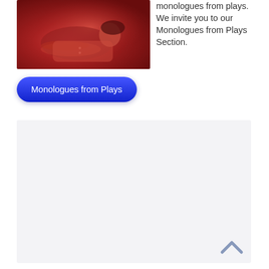[Figure (photo): Woman lying down with arms crossed, bathed in red/pink dramatic lighting, appears to be an actress or performer in a theatrical setting.]
monologues from plays. We invite you to our Monologues from Plays Section.
[Figure (other): Blue rounded rectangle button labeled 'Monologues from Plays']
[Figure (other): Light gray content area / advertisement block below the button, with a chevron/up-arrow icon in the bottom right corner.]